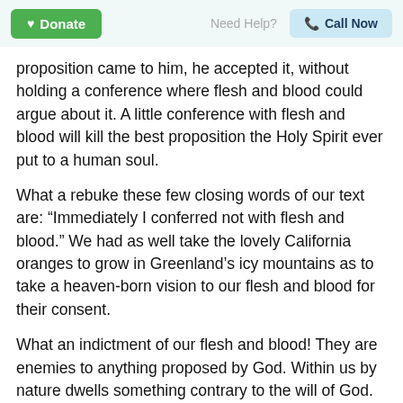Donate | Need Help? | Call Now
proposition came to him, he accepted it, without holding a conference where flesh and blood could argue about it. A little conference with flesh and blood will kill the best proposition the Holy Spirit ever put to a human soul.
What a rebuke these few closing words of our text are: “Immediately I conferred not with flesh and blood.” We had as well take the lovely California oranges to grow in Greenland’s icy mountains as to take a heaven-born vision to our flesh and blood for their consent.
What an indictment of our flesh and blood! They are enemies to anything proposed by God. Within us by nature dwells something contrary to the will of God. Here Paul lets us into a great secret of the life of Jesus, so wonderfully revealed in Him. Here it is: He consulted not with flesh and blood.